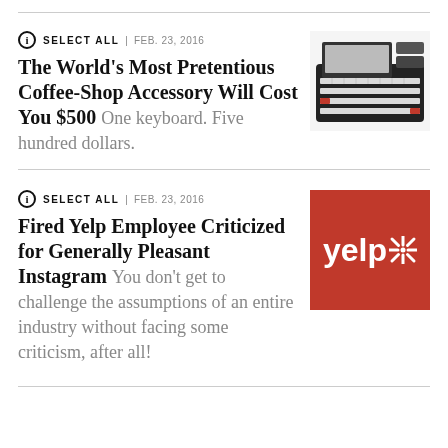SELECT ALL | FEB. 23, 2016
The World’s Most Pretentious Coffee-Shop Accessory Will Cost You $500  One keyboard. Five hundred dollars.
[Figure (photo): Photo of a retro-style mechanical keyboard with black casing and white keys with red accents]
SELECT ALL | FEB. 23, 2016
Fired Yelp Employee Criticized for Generally Pleasant Instagram  You don’t get to challenge the assumptions of an entire industry without facing some criticism, after all!
[Figure (logo): Yelp logo on red background]